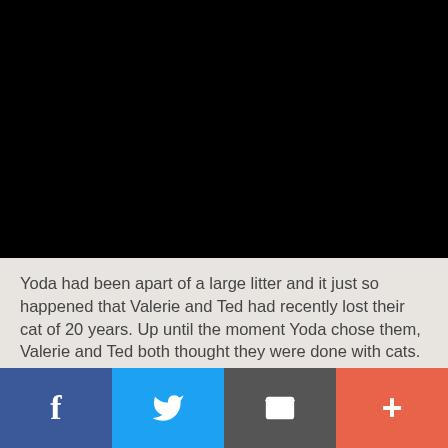[Figure (photo): Large black rectangle occupying the top portion of the page, representing a darkened or obscured image area.]
Yoda had been apart of a large litter and it just so happened that Valerie and Ted had recently lost their cat of 20 years. Up until the moment Yoda chose them, Valerie and Ted both thought they were done with cats.
This website uses cookies to improve your experience. We'll assume you're ok with this, but you can opt-out if you wish.
Social share bar with Facebook, Twitter, Email, and More buttons